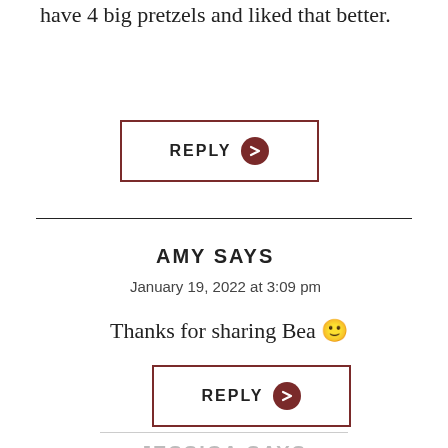have 4 big pretzels and liked that better.
[Figure (other): REPLY button with dark red border and arrow circle icon]
AMY SAYS
January 19, 2022 at 3:09 pm
Thanks for sharing Bea 🙂
[Figure (other): REPLY button with dark red border and arrow circle icon]
JESSICA SAYS